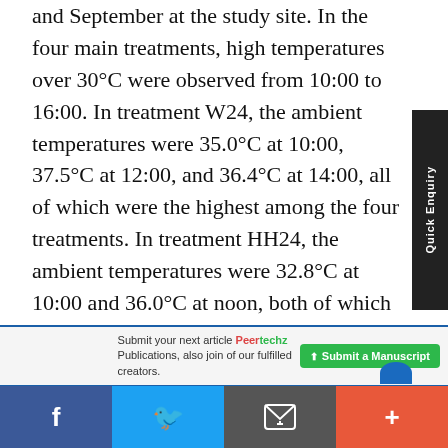and September at the study site. In the four main treatments, high temperatures over 30°C were observed from 10:00 to 16:00. In treatment W24, the ambient temperatures were 35.0°C at 10:00, 37.5°C at 12:00, and 36.4°C at 14:00, all of which were the highest among the four treatments. In treatment HH24, the ambient temperatures were 32.8°C at 10:00 and 36.0°C at noon, both of which were the lowest among the four treatments. Of all the treatments, the
Submit your next article Peertechz Publications, also join of our fulfilled creators. Submit a Manuscript